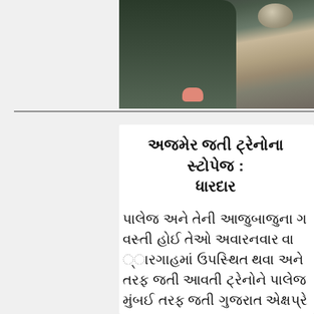[Figure (photo): A person sitting on a wooden floor with a metal bowl/vessel, partially cropped image showing person in dark clothing with pink hand/clothing visible]
અજમેર જતી ટ્રેનોના સ્ટોપેજ ... ધારદાર
પાલેજ અને તેની આજુબાજુના ગ... વસ્તી હોઈ તેઓ અવારનવાર વા... ્ારગાહમાં ઉપસ્થિત થવા અને... તરફ જતી આવતી ટ્રેનોને પાલેજ... મુંબઈ તરફ જતી ગુજરાત એક્ષપ્રે...